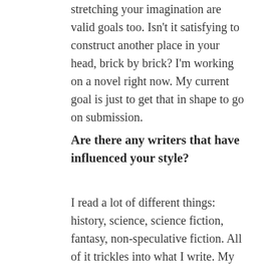stretching your imagination are valid goals too. Isn't it satisfying to construct another place in your head, brick by brick? I'm working on a novel right now. My current goal is just to get that in shape to go on submission.
Are there any writers that have influenced your style?
I read a lot of different things: history, science, science fiction, fantasy, non-speculative fiction. All of it trickles into what I write. My favorite authors are Banana Yoshimoto and Kazuo Ishiguro, who is a deft blurer of genre lines. They